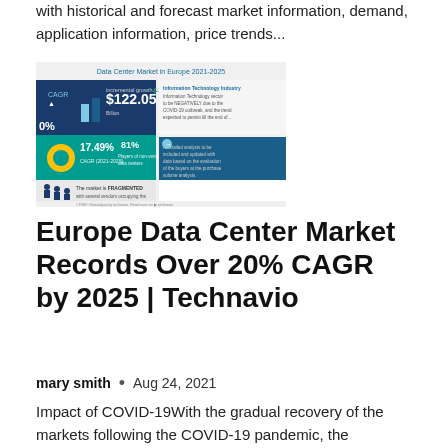with historical and forecast market information, demand, application information, price trends...
[Figure (infographic): Data Center Market in Europe 2021-2025 infographic showing key metrics: incremental growth $122.05, CAGR 17.49%, 81% figure, fragmented market structure, and COVID-19 impact notes from Technavio]
Europe Data Center Market Records Over 20% CAGR by 2025 | Technavio
mary smith  •  Aug 24, 2021
Impact of COVID-19With the gradual recovery of the markets following the COVID-19 pandemic, the information technology industry is expected to experience mixed impacts during the